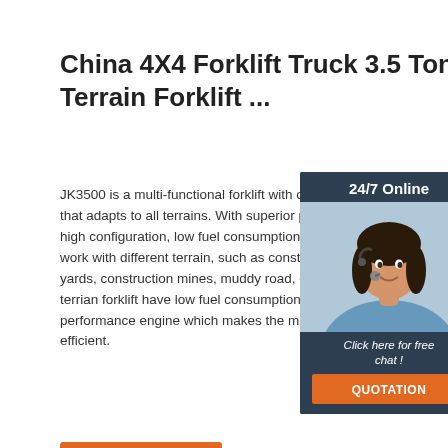China 4X4 Forklift Truck 3.5 Ton All Terrain Forklift ...
JK3500 is a multi-functional forklift with optional that adapts to all terrains. With superior perfor high configuration, low fuel consumption, JK35 work with different terrain, such as constructio yards, construction mines, muddy road, etc. 20 terrian forklift have low fuel consumption and h performance engine which makes the machine efficient.
[Figure (photo): Customer service agent photo with 24/7 Online header and chat widget with QUOTATION button]
Get Price